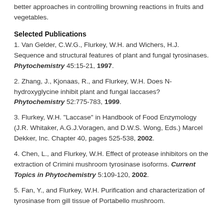better approaches in controlling browning reactions in fruits and vegetables.
Selected Publications
1. Van Gelder, C.W.G., Flurkey, W.H. and Wichers, H.J. Sequence and structural features of plant and fungal tyrosinases. Phytochemistry 45:15-21, 1997.
2. Zhang, J., Kjonaas, R., and Flurkey, W.H. Does N-hydroxyglycine inhibit plant and fungal laccases? Phytochemistry 52:775-783, 1999.
3. Flurkey, W.H. "Laccase" in Handbook of Food Enzymology (J.R. Whitaker, A.G.J.Voragen, and D.W.S. Wong, Eds.) Marcel Dekker, Inc. Chapter 40, pages 525-538, 2002.
4. Chen, L., and Flurkey, W.H. Effect of protease inhibitors on the extraction of Crimini mushroom tyrosinase isoforms. Current Topics in Phytochemistry 5:109-120, 2002.
5. Fan, Y., and Flurkey, W.H. Purification and characterization of tyrosinase from gill tissue of Portabello mushroom.